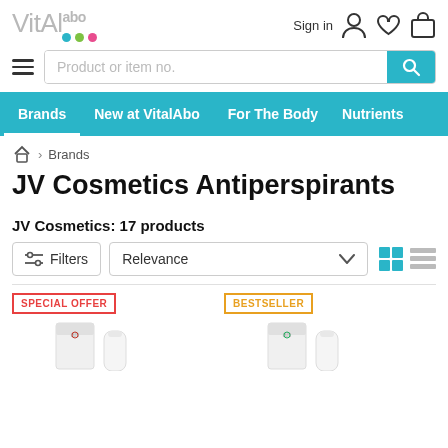VitalAbo
Sign in
Product or item no.
Brands  New at VitalAbo  For The Body  Nutrients
Brands
JV Cosmetics Antiperspirants
JV Cosmetics: 17 products
Filters  Relevance
[Figure (screenshot): Two product images showing JV Cosmetics antiperspirant products with 'SPECIAL OFFER' and 'BESTSELLER' badges]
SPECIAL OFFER
BESTSELLER